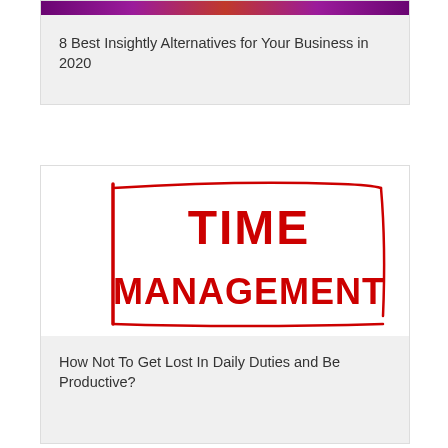[Figure (illustration): Partial top card showing a purple/pink gradient banner image cut off at the top of the page]
8 Best Insightly Alternatives for Your Business in 2020
[Figure (illustration): Time Management text illustration with bold red text 'TIME MANAGEMENT' inside a hand-drawn style rectangular border with a vertical line on the left side]
How Not To Get Lost In Daily Duties and Be Productive?